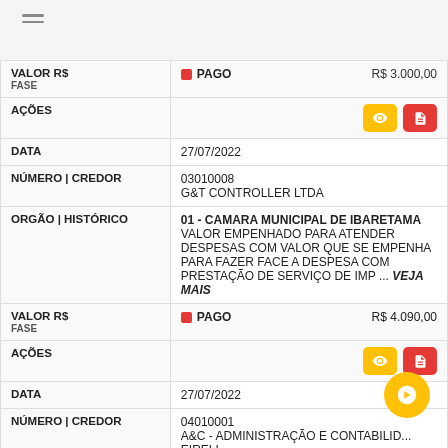| Campo | Valor |
| --- | --- |
| VALOR R$ / FASE | PAGO | R$ 3.000,00 (partial/cut off) |
| AÇÕES | (buttons) |
| DATA | 27/07/2022 |
| NÚMERO | CREDOR | 03010008
G&T CONTROLLER LTDA |
| ORGÃO | HISTÓRICO | 01 - CAMARA MUNICIPAL DE IBARETAMA
VALOR EMPENHADO PARA ATENDER DESPESAS COM VALOR QUE SE EMPENHA PARA FAZER FACE A DESPESA COM PRESTAÇÃO DE SERVIÇO DE IMP ... VEJA MAIS |
| VALOR R$ / FASE | PAGO | R$ 4.090,00 |
| AÇÕES | (buttons) |
| DATA | 27/07/2022 |
| NÚMERO | CREDOR | 04010001
A&C - ADMINISTRAÇÃO E CONTABILIDADE EIRELI |
| ORGÃO | HISTÓRICO | 01 - CAMARA MUNICIPAL DE IBARETAMA
SERVIÇOS DE DIGITALIZAÇÃO DE |